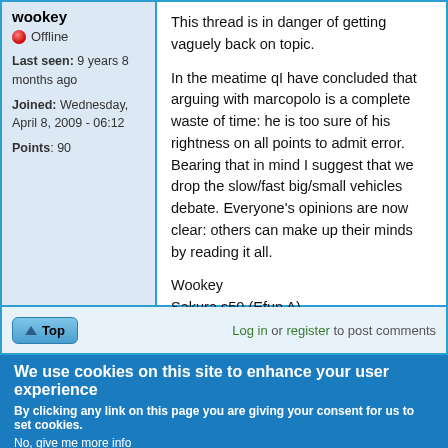wookey
Offline
Last seen: 9 years 8 months ago
Joined: Wednesday, April 8, 2009 - 06:12
Points: 90
This thread is in danger of getting vaguely back on topic.

In the meatime qI have concluded that arguing with marcopolo is a complete waste of time: he is too sure of his rightness on all points to admit error. Bearing that in mind I suggest that we drop the slow/fast big/small vehicles debate. Everyone's opinions are now clear: others can make up their minds by reading it all.

Wookey
Sakura s50 (Efun A)
Top
Log in or register to post comments
We use cookies on this site to enhance your user experience
By clicking any link on this page you are giving your consent for us to set cookies.
No, give me more info
OK, I agree